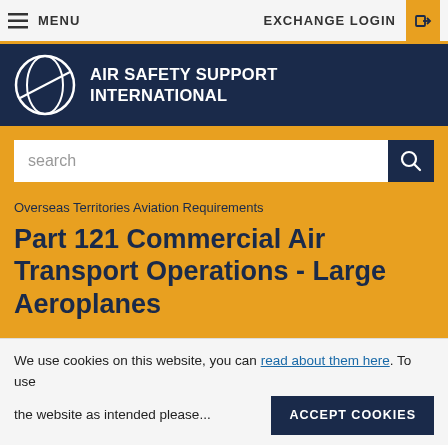MENU   EXCHANGE LOGIN
[Figure (logo): Air Safety Support International logo — white circle with stylized diagonal line on dark navy background, with white text 'AIR SAFETY SUPPORT INTERNATIONAL']
search
Overseas Territories Aviation Requirements
Part 121 Commercial Air Transport Operations - Large Aeroplanes
We use cookies on this website, you can read about them here. To use the website as intended please...
ACCEPT COOKIES